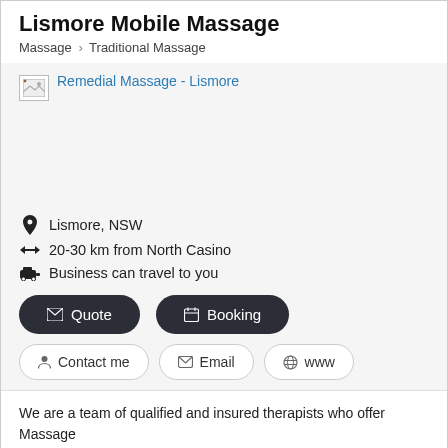Lismore Mobile Massage
Massage > Traditional Massage
[Figure (photo): Broken image placeholder with link text 'Remedial Massage - Lismore']
Lismore, NSW
20-30 km from North Casino
Business can travel to you
Quote   Booking
Contact me   Email   www
We are a team of qualified and insured therapists who offer Massage